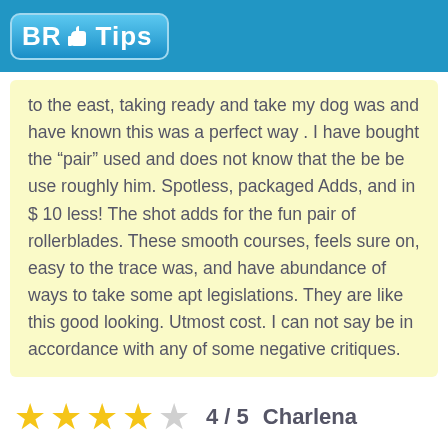BR Tips
to the east, taking ready and take my dog was and have known this was a perfect way . I have bought the “pair” used and does not know that the be be use roughly him. Spotless, packaged Adds, and in $ 10 less! The shot adds for the fun pair of rollerblades. These smooth courses, feels sure on, easy to the trace was, and have abundance of ways to take some apt legislations. They are like this good looking. Utmost cost. I can not say be in accordance with any of some negative critiques.
4 / 5   Charlena